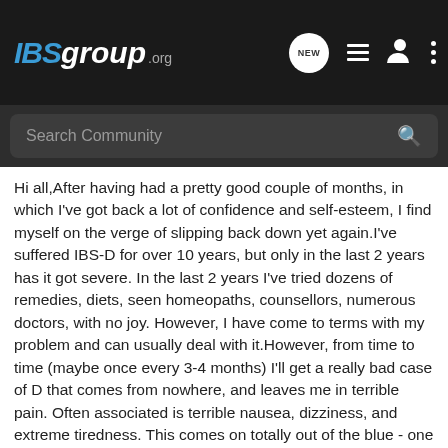IBSgroup.org
Search Community
Hi all,After having had a pretty good couple of months, in which I've got back a lot of confidence and self-esteem, I find myself on the verge of slipping back down yet again.I've suffered IBS-D for over 10 years, but only in the last 2 years has it got severe. In the last 2 years I've tried dozens of remedies, diets, seen homeopaths, counsellors, numerous doctors, with no joy. However, I have come to terms with my problem and can usually deal with it.However, from time to time (maybe once every 3-4 months) I'll get a really bad case of D that comes from nowhere, and leaves me in terrible pain. Often associated is terrible nausea, dizziness, and extreme tiredness. This comes on totally out of the blue - one minute I'm fine, have my evening meal, and then BANG! Rest of the night on the toilet, head in the toilet, or lying in bed slipping in and out of fevered dreams.Does anyone else with IBS have this? It has a major effect on my confidence, which I've already had trouble building in the